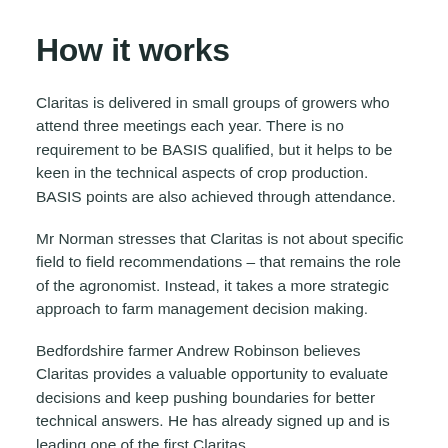How it works
Claritas is delivered in small groups of growers who attend three meetings each year. There is no requirement to be BASIS qualified, but it helps to be keen in the technical aspects of crop production. BASIS points are also achieved through attendance.
Mr Norman stresses that Claritas is not about specific field to field recommendations – that remains the role of the agronomist. Instead, it takes a more strategic approach to farm management decision making.
Bedfordshire farmer Andrew Robinson believes Claritas provides a valuable opportunity to evaluate decisions and keep pushing boundaries for better technical answers. He has already signed up and is leading one of the first Claritas...